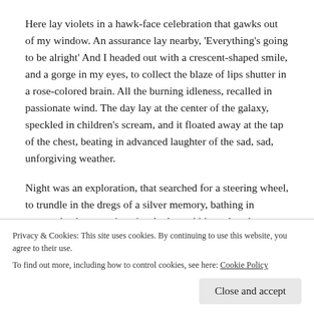Here lay violets in a hawk-face celebration that gawks out of my window. An assurance lay nearby, 'Everything's going to be alright' And I headed out with a crescent-shaped smile, and a gorge in my eyes, to collect the blaze of lips shutter in a rose-colored brain. All the burning idleness, recalled in passionate wind. The day lay at the center of the galaxy, speckled in children's scream, and it floated away at the tap of the chest, beating in advanced laughter of the sad, sad, unforgiving weather.
Night was an exploration, that searched for a steering wheel, to trundle in the dregs of a silver memory, bathing in suntan-daydream swimsuits. And a wobbly pedestal
Privacy & Cookies: This site uses cookies. By continuing to use this website, you agree to their use.
To find out more, including how to control cookies, see here: Cookie Policy
Close and accept